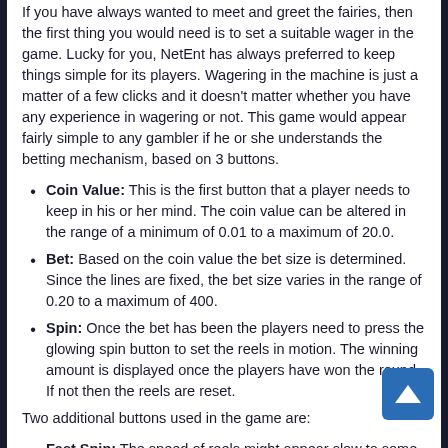If you have always wanted to meet and greet the fairies, then the first thing you would need is to set a suitable wager in the game. Lucky for you, NetEnt has always preferred to keep things simple for its players. Wagering in the machine is just a matter of a few clicks and it doesn't matter whether you have any experience in wagering or not. This game would appear fairly simple to any gambler if he or she understands the betting mechanism, based on 3 buttons.
Coin Value: This is the first button that a player needs to keep in his or her mind. The coin value can be altered in the range of a minimum of 0.01 to a maximum of 20.0.
Bet: Based on the coin value the bet size is determined. Since the lines are fixed, the bet size varies in the range of 0.20 to a maximum of 400.
Spin: Once the bet has been the players need to press the glowing spin button to set the reels in motion. The winning amount is displayed once the players have won the round. If not then the reels are reset.
Two additional buttons used in the game are:
Fast Spin: The speed of reels might appear slow to some players. In order to speed things a bit, the players have been provided with the fast spin option to pace up the reels.
Autoplay: If the players do not want to press the spin button again and again, then they can set for the...